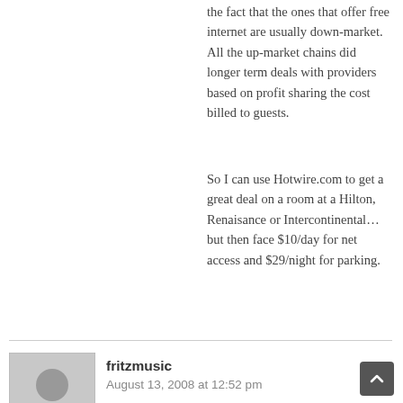the fact that the ones that offer free internet are usually down-market. All the up-market chains did longer term deals with providers based on profit sharing the cost billed to guests.
So I can use Hotwire.com to get a great deal on a room at a Hilton, Renaisance or Intercontinental… but then face $10/day for net access and $29/night for parking.
fritzmusic
August 13, 2008 at 12:52 pm
[Figure (illustration): Gray avatar/placeholder image of a person silhouette]
I've lived in Candlewood Suites myself for most of the last 2 years and I know exactly what you're talking about. The networks really are fast once you convince tech support to disable the superclick i-frames. I've written IHG many times to disable the unfair hijacking of captive guests' web browsers by the Superclick networks to expose them to targeted